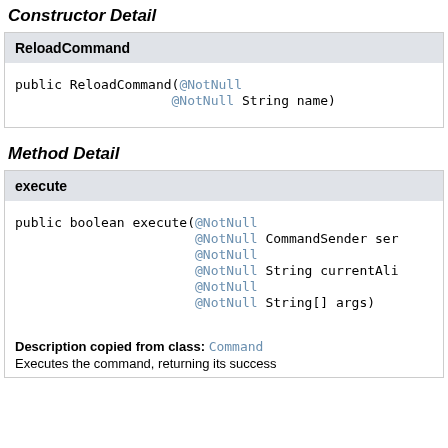Constructor Detail
ReloadCommand
public ReloadCommand(@NotNull
                    @NotNull String name)
Method Detail
execute
public boolean execute(@NotNull
                       @NotNull CommandSender sen
                       @NotNull
                       @NotNull String currentAli
                       @NotNull
                       @NotNull String[] args)
Description copied from class: Command
Executes the command, returning its success